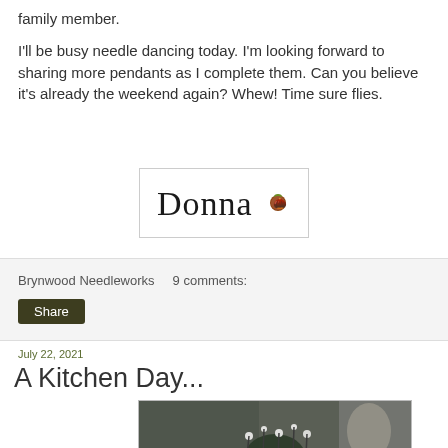family member.
I'll be busy needle dancing today. I'm looking forward to sharing more pendants as I complete them. Can you believe it's already the weekend again? Whew! Time sure flies.
[Figure (illustration): Donna signature with a small acorn/nut graphic in a bordered box]
Brynwood Needleworks    9 comments:
Share
July 22, 2021
A Kitchen Day...
[Figure (photo): A photo of small white flowers in a dark vase with blurred background]